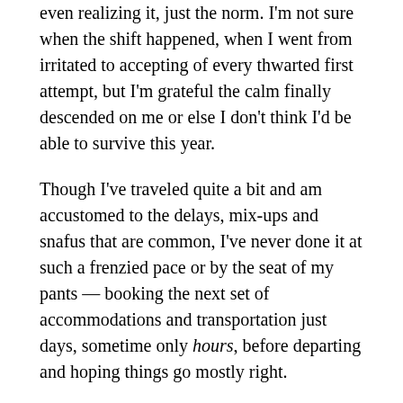even realizing it, just the norm. I'm not sure when the shift happened, when I went from irritated to accepting of every thwarted first attempt, but I'm grateful the calm finally descended on me or else I don't think I'd be able to survive this year.
Though I've traveled quite a bit and am accustomed to the delays, mix-ups and snafus that are common, I've never done it at such a frenzied pace or by the seat of my pants — booking the next set of accommodations and transportation just days, sometime only hours, before departing and hoping things go mostly right.
And, with the exception of having to do every little thing twice, the first leg of our trip did go, mostly, right.
Friday/Saturday – Dubrovnik: Despite being really sick (Emily now calls me L'il Sneezy) and sleeping on the worst